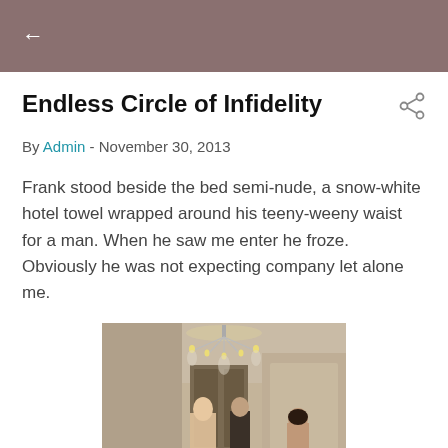← (back navigation)
Endless Circle of Infidelity
By Admin - November 30, 2013
Frank stood beside the bed semi-nude, a snow-white hotel towel wrapped around his teeny-weeny waist for a man. When he saw me enter he froze. Obviously he was not expecting company let alone me.
[Figure (photo): A hotel room scene with a chandelier, a person in a doorway, a man in a robe, and a woman seen from behind.]